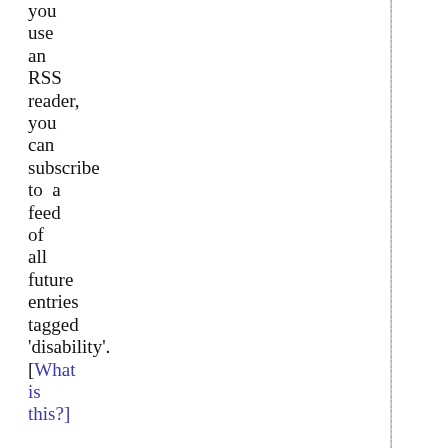you use an RSS reader, you can subscribe to a feed of all future entries tagged 'disability'. [What is this?]
Subscribe to feed
Other